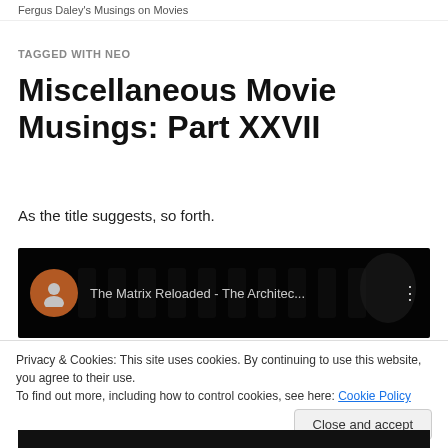Fergus Daley's Musings on Movies
TAGGED WITH NEO
Miscellaneous Movie Musings: Part XXVII
As the title suggests, so forth.
[Figure (screenshot): YouTube video thumbnail for 'The Matrix Reloaded - The Architec...' with orange avatar icon and three-dot menu]
Privacy & Cookies: This site uses cookies. By continuing to use this website, you agree to their use.
To find out more, including how to control cookies, see here: Cookie Policy
Close and accept